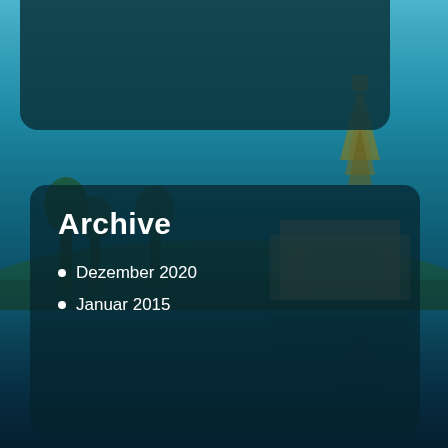[Figure (photo): Background photo of a Thai temple/pagoda with trees and water reflection, overlaid with dark teal semi-transparent panels. Sky is bright blue, greenery visible, temple with golden spire on right side.]
Archive
Dezember 2020
Januar 2015